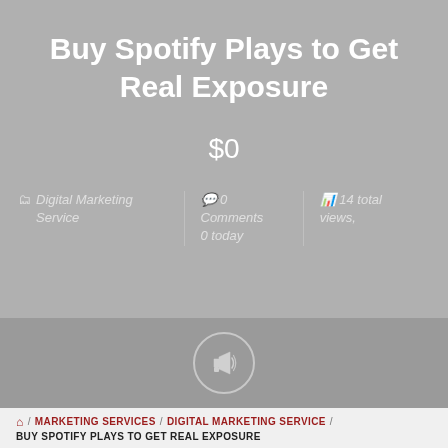Buy Spotify Plays to Get Real Exposure
$0
Digital Marketing Service  |  0 Comments  |  14 total views, 0 today
[Figure (illustration): Megaphone icon inside a circle on a grey banner strip]
/ MARKETING SERVICES / DIGITAL MARKETING SERVICE / BUY SPOTIFY PLAYS TO GET REAL EXPOSURE